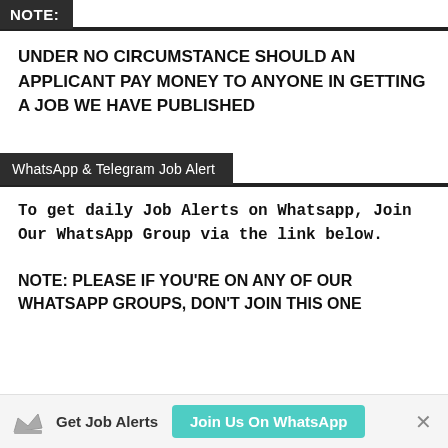NOTE:
UNDER NO CIRCUMSTANCE SHOULD AN APPLICANT PAY MONEY TO ANYONE IN GETTING A JOB WE HAVE PUBLISHED
WhatsApp & Telegram Job Alert
To get daily Job Alerts on Whatsapp, Join Our WhatsApp Group via the link below.
NOTE: PLEASE IF YOU'RE ON ANY OF OUR WHATSAPP GROUPS, DON'T JOIN THIS ONE
Get Job Alerts   Join Us On WhatsApp   ×